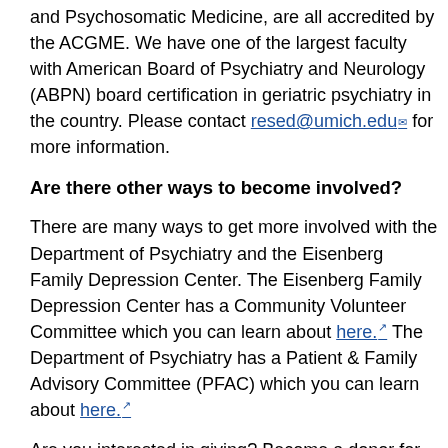and Psychosomatic Medicine, are all accredited by the ACGME. We have one of the largest faculty with American Board of Psychiatry and Neurology (ABPN) board certification in geriatric psychiatry in the country. Please contact resed@umich.edu for more information.
Are there other ways to become involved?
There are many ways to get more involved with the Department of Psychiatry and the Eisenberg Family Depression Center. The Eisenberg Family Depression Center has a Community Volunteer Committee which you can learn about here. The Department of Psychiatry has a Patient & Family Advisory Committee (PFAC) which you can learn about here.
Are you interested in giving? Become a donor for the Department of Psychiatry here or for the Eisenberg